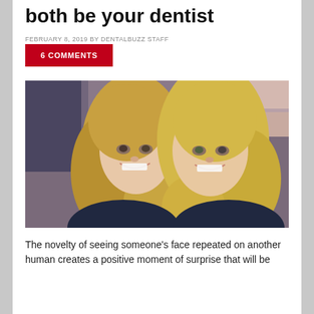both be your dentist
FEBRUARY 8, 2019 BY DENTALBUZZ STAFF
6 COMMENTS
[Figure (photo): Two smiling blonde women with white teeth posing together closely, photographed indoors with a blurred background of shelves.]
The novelty of seeing someone's face repeated on another human creates a positive moment of surprise that will be